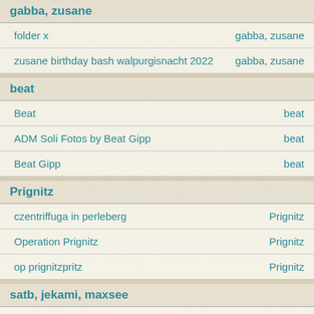gabba, zusane
| Name | Tags |
| --- | --- |
| folder x | gabba, zusane |
| zusane birthday bash walpurgisnacht 2022 | gabba, zusane |
beat
| Name | Tags |
| --- | --- |
| Beat | beat |
| ADM Soli Fotos by Beat Gipp | beat |
| Beat Gipp | beat |
Prignitz
| Name | Tags |
| --- | --- |
| czentriffuga in perleberg | Prignitz |
| Operation Prignitz | Prignitz |
| op prignitzpritz | Prignitz |
satb, jekami, maxsee
| Name | Tags |
| --- | --- |
| Jekami am Maxsee (J.A.M.) | satb, jekami, maxsee |
beat, mallorca, tropicana dreams
| Name | Tags |
| --- | --- |
| Flossy Gallery by Beat | beat, mallorca, tropicana dreams |